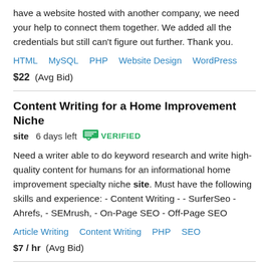have a website hosted with another company, we need your help to connect them together. We added all the credentials but still can't figure out further. Thank you.
HTML   MySQL   PHP   Website Design   WordPress
$22  (Avg Bid)
Content Writing for a Home Improvement Niche
site   6 days left   VERIFIED
Need a writer able to do keyword research and write high-quality content for humans for an informational home improvement specialty niche site. Must have the following skills and experience: - Content Writing - - SurferSeo - Ahrefs, - SEMrush, - On-Page SEO - Off-Page SEO
Article Writing   Content Writing   PHP   SEO
$7 / hr  (Avg Bid)